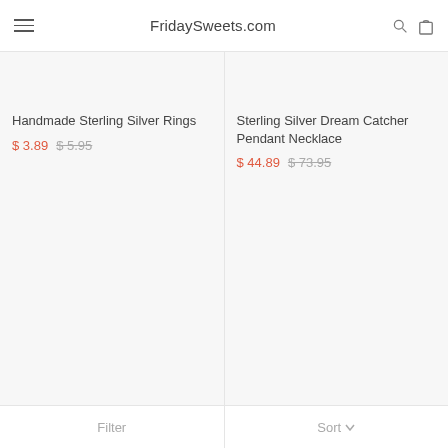FridaySweets.com
Handmade Sterling Silver Rings
$ 3.89  $ 5.95
Sterling Silver Dream Catcher Pendant Necklace
$ 44.89  $ 73.95
Filter   Sort